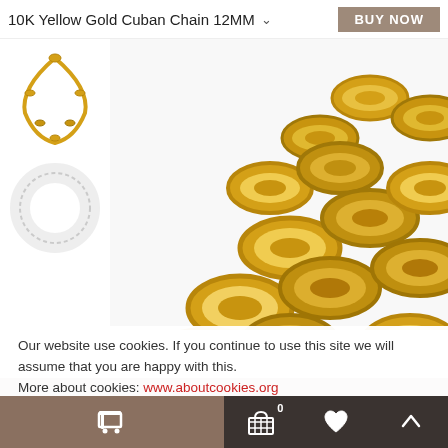10K Yellow Gold Cuban Chain 12MM
[Figure (photo): Close-up of 10K yellow gold Cuban chain links with two thumbnail images on the left showing the full necklace and a circular chain view]
Our website use cookies. If you continue to use this site we will assume that you are happy with this.
More about cookies: www.aboutcookies.org